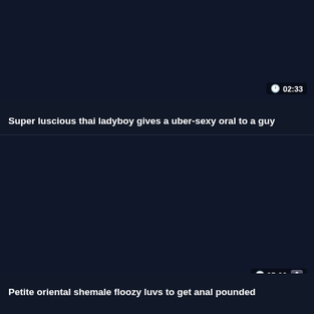[Figure (screenshot): Dark video thumbnail placeholder for first video card]
02:33
Super luscious thai ladyboy gives a uber-sexy oral to a guy
[Figure (screenshot): Dark video thumbnail placeholder for second video card]
05:06
Petite oriental shemale floozy luvs to get anal pounded